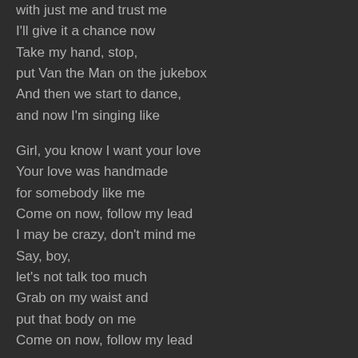with just me and trust me
I'll give it a chance now
Take my hand, stop,
put Van the Man on the jukebox
And then we start to dance,
and now I'm singing like

Girl, you know I want your love
Your love was handmade
for somebody like me
Come on now, follow my lead
I may be crazy, don't mind me
Say, boy,
let's not talk too much
Grab on my waist and
put that body on me
Come on now, follow my lead